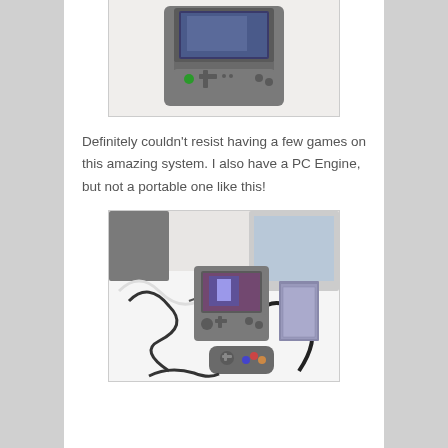[Figure (photo): Close-up photo of a grey portable PC Engine GT handheld gaming console standing upright on a white surface, showing its screen folded open and buttons visible]
Definitely couldn't resist having a few games on this amazing system. I also have a PC Engine, but not a portable one like this!
[Figure (photo): Photo of a desktop setup with a portable PC Engine GT handheld displaying a game, surrounded by cables, game cards/HuCards stacked on the right, another console visible in the background, and a turbo pad controller in the foreground]